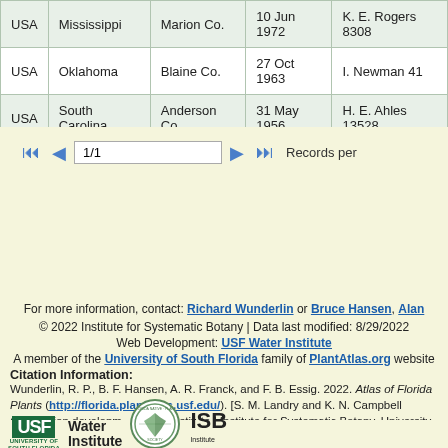| Country | State | County | Date | Collector |
| --- | --- | --- | --- | --- |
| USA | Mississippi | Marion Co. | 10 Jun 1972 | K. E. Rogers 8308 |
| USA | Oklahoma | Blaine Co. | 27 Oct 1963 | I. Newman 41 |
| USA | South Carolina | Anderson Co. | 31 May 1956 | H. E. Ahles 13528 |
1/1   Records per
For more information, contact: Richard Wunderlin or Bruce Hansen, Alan Franck, or Ka...
© 2022 Institute for Systematic Botany | Data last modified: 8/29/2022
Web Development: USF Water Institute
A member of the University of South Florida family of PlantAtlas.org website
Citation Information:
Wunderlin, R. P., B. F. Hansen, A. R. Franck, and F. B. Essig. 2022. Atlas of Florida Plants (http://florida.plantatlas.usf.edu/). [S. M. Landry and K. N. Campbell (application development), USF Water Institute.] Institute for Systematic Botany, University of South Florida, Tampa.
[Figure (logo): USF University of South Florida logo, Water Institute logo, Florida Native Plant Society circular seal, ISB Institute for Systematic Botany logo]